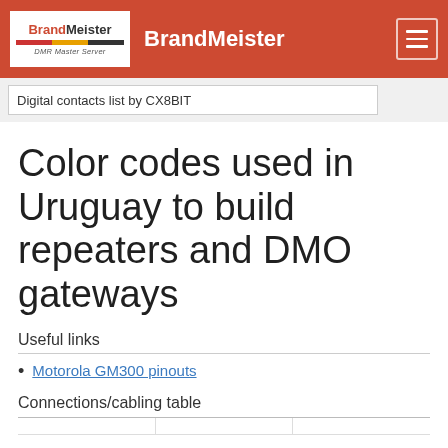BrandMeister
Digital contacts list by CX8BIT
Color codes used in Uruguay to build repeaters and DMO gateways
Useful links
Motorola GM300 pinouts
Connections/cabling table